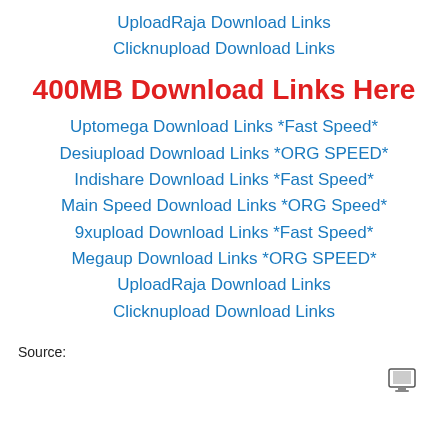UploadRaja Download Links
Clicknupload Download Links
400MB Download Links Here
Uptomega Download Links *Fast Speed*
Desiupload Download Links *ORG SPEED*
Indishare Download Links *Fast Speed*
Main Speed Download Links *ORG Speed*
9xupload Download Links *Fast Speed*
Megaup Download Links *ORG SPEED*
UploadRaja Download Links
Clicknupload Download Links
Source:
[Figure (other): Small computer/monitor icon]